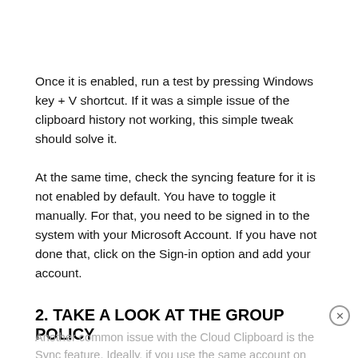Once it is enabled, run a test by pressing Windows key + V shortcut. If it was a simple issue of the clipboard history not working, this simple tweak should solve it.
At the same time, check the syncing feature for it is not enabled by default. You have to toggle it manually. For that, you need to be signed in to the system with your Microsoft Account. If you have not done that, click on the Sign-in option and add your account.
2. TAKE A LOOK AT THE GROUP POLICY
Another common issue with the Cloud Clipboard is the Sync feature. Ideally, if you use the same account on the